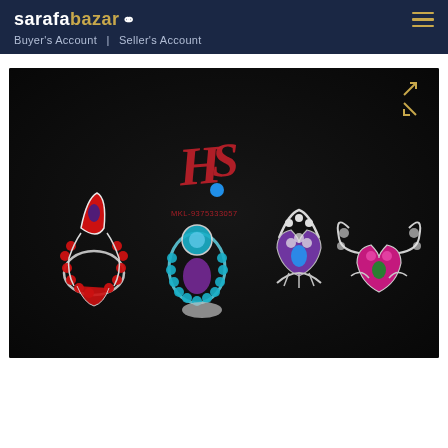sarafabazar | Buyer's Account | Seller's Account
[Figure (photo): Product photo showing four decorative jeweled rings/earrings with colorful gemstone settings: red, blue, silver/purple, and pink/magenta colors with silver metalwork filigree, displayed on a dark background with an 'HS' logo watermark and contact number MKL-9375333057]